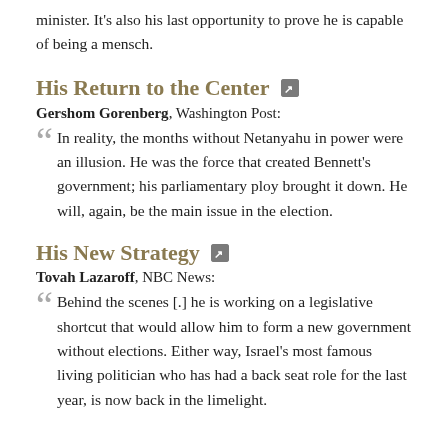minister. It's also his last opportunity to prove he is capable of being a mensch.
His Return to the Center
Gershom Gorenberg, Washington Post:
In reality, the months without Netanyahu in power were an illusion. He was the force that created Bennett's government; his parliamentary ploy brought it down. He will, again, be the main issue in the election.
His New Strategy
Tovah Lazaroff, NBC News:
Behind the scenes [.] he is working on a legislative shortcut that would allow him to form a new government without elections. Either way, Israel's most famous living politician who has had a back seat role for the last year, is now back in the limelight.